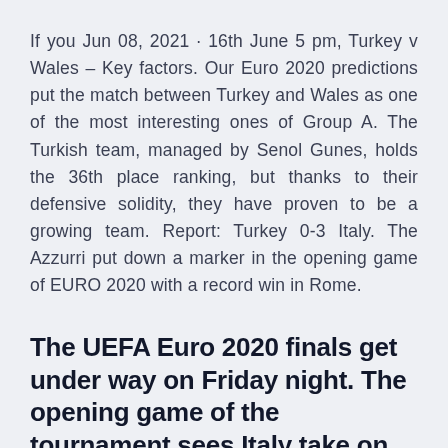If you Jun 08, 2021 · 16th June 5 pm, Turkey v Wales – Key factors. Our Euro 2020 predictions put the match between Turkey and Wales as one of the most interesting ones of Group A. The Turkish team, managed by Senol Gunes, holds the 36th place ranking, but thanks to their defensive solidity, they have proven to be a growing team. Report: Turkey 0-3 Italy. The Azzurri put down a marker in the opening game of EURO 2020 with a record win in Rome.
The UEFA Euro 2020 finals get under way on Friday night. The opening game of the tournament sees Italy take on Turkey at the